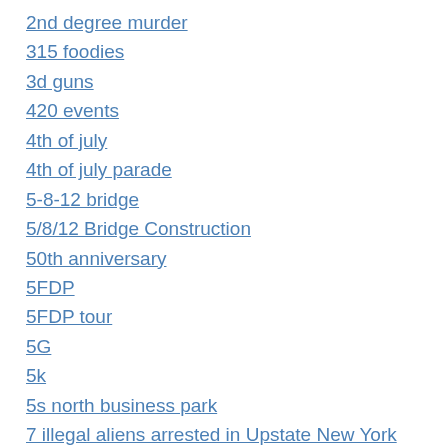2nd degree murder
315 foodies
3d guns
420 events
4th of july
4th of july parade
5-8-12 bridge
5/8/12 Bridge Construction
50th anniversary
5FDP
5FDP tour
5G
5k
5s north business park
7 illegal aliens arrested in Upstate New York